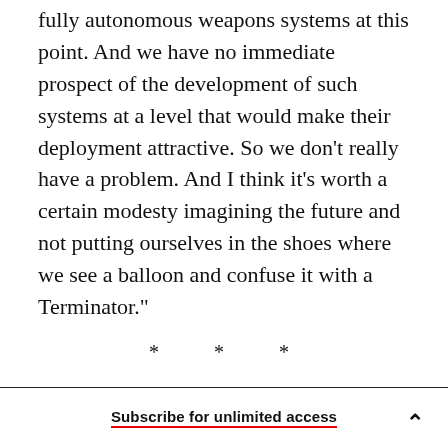fully autonomous weapons systems at this point. And we have no immediate prospect of the development of such systems at a level that would make their deployment attractive. So we don't really have a problem. And I think it's worth a certain modesty imagining the future and not putting ourselves in the shoes where we see a balloon and confuse it with a Terminator."
* * *
Regular readers won't be surprised that I favor efforts to prevent autonomous weapons from
Subscribe for unlimited access